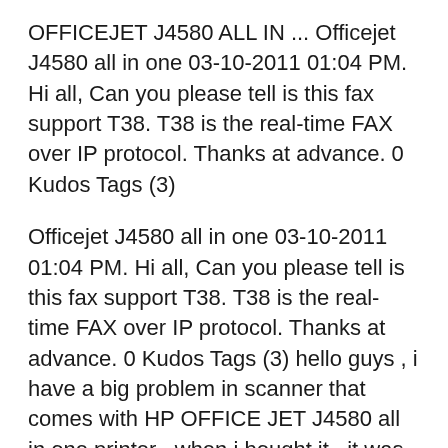OFFICEJET J4580 ALL IN ... Officejet J4580 all in one 03-10-2011 01:04 PM. Hi all, Can you please tell is this fax support T38. T38 is the real-time FAX over IP protocol. Thanks at advance. 0 Kudos Tags (3)
Officejet J4580 all in one 03-10-2011 01:04 PM. Hi all, Can you please tell is this fax support T38. T38 is the real-time FAX over IP protocol. Thanks at advance. 0 Kudos Tags (3) hello guys , i have a big problem in scanner that comes with HP OFFICE JET J4580 all in one printer . when i bought it , it was working without problems, but after a few months i've noticed a problem in the scanner . When i scan anything , a long black Column appers in the page . i thought